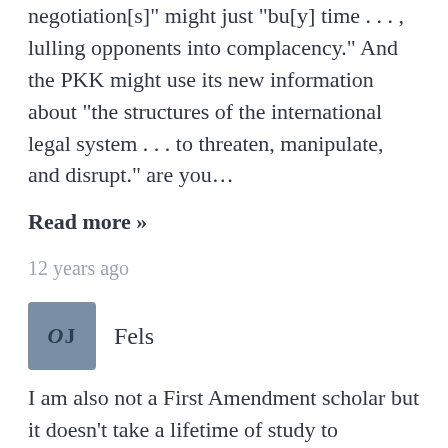the following argument... 'peaceful negotiation[s]' might just 'bu[y] time . . . , lulling opponents into complacency.' And the PKK might use its new information about 'the structures of the international legal system . . . to threaten, manipulate, and disrupt.' are you...
Read more »
12 years ago
[Figure (illustration): Square avatar icon with dark slate blue background showing the letters 'OJ' in a serif font, with a small circular watermark/logo in the background]
Fels
I am also not a First Amendment scholar but it doesn't take a lifetime of study to recognize this as a massive blunder. I can't understand why the court refused to nail the law on constitutional dissection, but it...